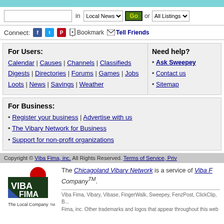SEARCH bar area
Connect: Bookmark Tell Friends
For Users: Calendar | Causes | Channels | Classifieds Digests | Directories | Forums | Games | Jobs Loots | News | Savings | Weather
Need help? • Ask Sweepey • Contact us • Sitemap
For Business: • Register your business | Advertise with us • The Vibary Network for Business • Support for non-profit organizations
Copyright © Viba Fima, inc. All Rights Reserved. Terms of Service, Priv
The Chicagoland Vibary Network is a service of Viba F... CompanyTM.
Viba Fima, Vibary, Vibase, FingerWalk, Sweepey, FenzPost, ClickClip, B... Fima, inc. Other trademarks and logos that appear throughout this web